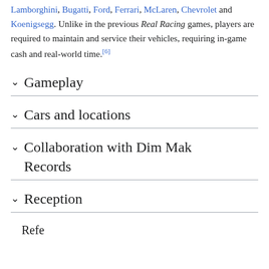Lamborghini, Bugatti, Ford, Ferrari, McLaren, Chevrolet and Koenigsegg. Unlike in the previous Real Racing games, players are required to maintain and service their vehicles, requiring in-game cash and real-world time.[6]
Gameplay
Cars and locations
Collaboration with Dim Mak Records
Reception
Refe...